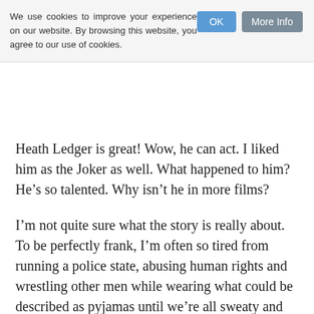We use cookies to improve your experience on our website. By browsing this website, you agree to our use of cookies.
Heath Ledger is great! Wow, he can act. I liked him as the Joker as well. What happened to him? He’s so talented. Why isn’t he in more films?
I’m not quite sure what the story is really about. To be perfectly frank, I’m often so tired from running a police state, abusing human rights and wrestling other men while wearing what could be described as pyjamas until we’re all sweaty and spent, I often nod off during a film and Brokeback Mountain does have this soothing music. Randy Quaid is in it as well. He’s fantastic though he looks like he didn’t get paid enough.
All I know is that Brokeback Mountain is a healthy